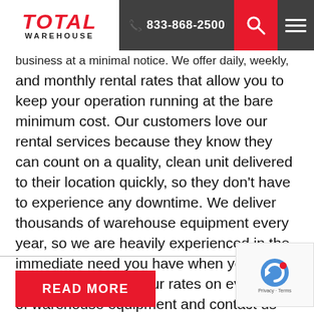Total Warehouse | 833-868-2500
business at a minimal notice. We offer daily, weekly, and monthly rental rates that allow you to keep your operation running at the bare minimum cost. Our customers love our rental services because they know they can count on a quality, clean unit delivered to their location quickly, so they don't have to experience any downtime. We deliver thousands of warehouse equipment every year, so we are heavily experienced in the immediate need you have when you call us for rentals. Explore our rates on every type of warehouse equipment and contact us right away so we can help you out!